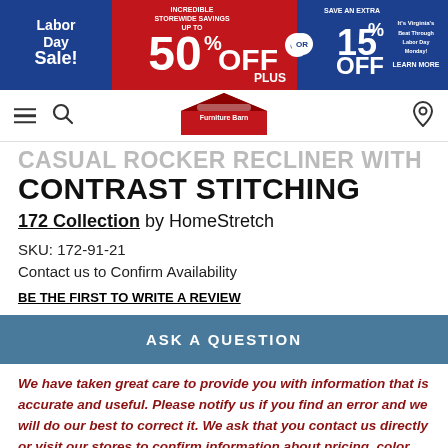[Figure (screenshot): Labor Day Sale banner advertisement: INCREDIBLE STOREWIDE SAVINGS UP TO 50% OFF PLUS SAVE AN EXTRA 15% OFF OR 60 Months No Interest]
[Figure (screenshot): Navigation bar with hamburger menu, search icon, Furniture Barn logo, and location pin icon]
CASUAL ROCKER RECLINER WITH CONTRAST STITCHING
172 Collection by HomeStretch
SKU: 172-91-21
Contact us to Confirm Availability
BE THE FIRST TO WRITE A REVIEW
ASK A QUESTION
We have taken great care to provide you with information that is accurate and useful. Please notify us if you find an error and we will do our best to correct it. We ask that you contact us directly or visit our stores to confirm information about pricing, color, features, dimensions,